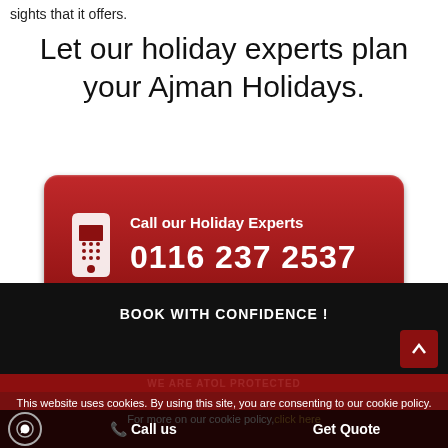sights that it offers.
Let our holiday experts plan your Ajman Holidays.
[Figure (infographic): Red rounded button with telephone icon, text 'Call our Holiday Experts' and phone number '0116 237 2537']
[Figure (infographic): Red rounded button with envelope icon and text 'Tailor Made Holidays Enquiry']
BOOK WITH CONFIDENCE !
WE ARE ATOL PROTECTED
This website uses cookies. By using this site, you are consenting to our cookie policy. For more on our cookie policy, click here
Call us   Get Quote